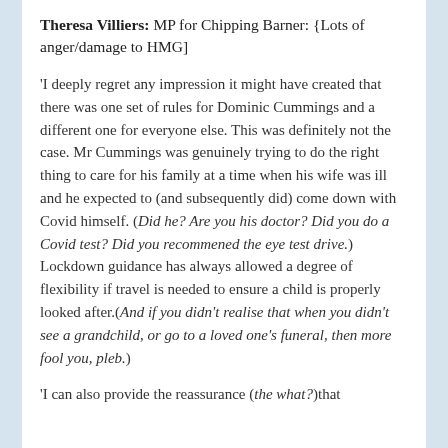Theresa Villiers: MP for Chipping Barner: {Lots of anger/damage to HMG]
'I deeply regret any impression it might have created that there was one set of rules for Dominic Cummings and a different one for everyone else. This was definitely not the case. Mr Cummings was genuinely trying to do the right thing to care for his family at a time when his wife was ill and he expected to (and subsequently did) come down with Covid himself. (Did he? Are you his doctor? Did you do a Covid test? Did you recommened the eye test drive.) Lockdown guidance has always allowed a degree of flexibility if travel is needed to ensure a child is properly looked after.(And if you didn't realise that when you didn't see a grandchild, or go to a loved one's funeral, then more fool you, pleb.)
'I can also provide the reassurance (the what?)that